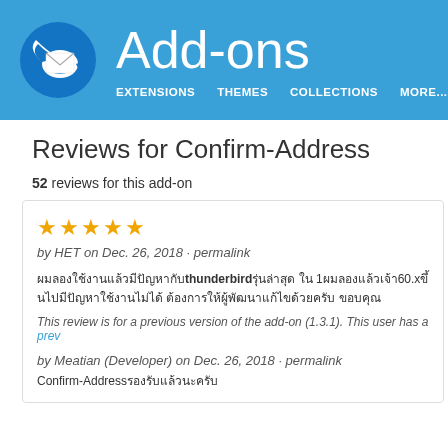Add-ons
EXTENSIONS  THEMES  COLLECTIONS  MORE...
Reviews for Confirm-Address
52 reviews for this add-on
★★★★★ by HET on Dec. 26, 2018 · permalink
ผมลองใช้งานแล้วมีปัญหากับ thunderbird รุ่นล่าสุด ใน 1 ผมลองแล้วเจ้า 60.x ขึ้นไปมีปัญหาใช้งานไม่ได้ ต้องการให้ผู้พัฒนาแก้ไขด้วยครับ ขอบคุณ
This review is for a previous version of the add-on (1.3.1). This user has a prev
by Meatian (Developer) on Dec. 26, 2018 · permalink
Confirm-Address รองรับแล้วนะครับ